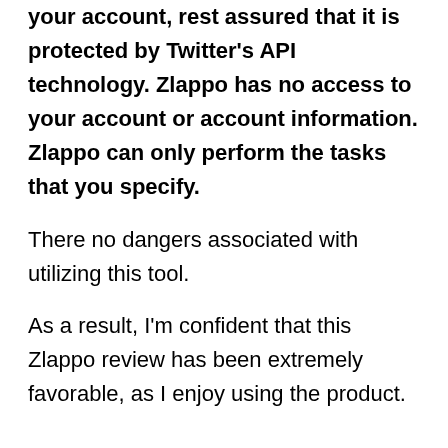your account, rest assured that it is protected by Twitter's API technology. Zlappo has no access to your account or account information. Zlappo can only perform the tasks that you specify.
There no dangers associated with utilizing this tool.
As a result, I'm confident that this Zlappo review has been extremely favorable, as I enjoy using the product.